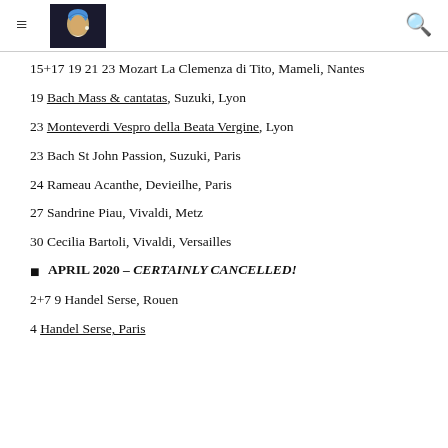≡ [logo image] 🔍
15+17 19 21 23 Mozart La Clemenza di Tito, Mameli, Nantes
19 Bach Mass & cantatas, Suzuki, Lyon
23 Monteverdi Vespro della Beata Vergine, Lyon
23 Bach St John Passion, Suzuki, Paris
24 Rameau Acanthe, Devieilhe, Paris
27 Sandrine Piau, Vivaldi, Metz
30 Cecilia Bartoli, Vivaldi, Versailles
▪ APRIL 2020 – CERTAINLY CANCELLED!
2+7 9 Handel Serse, Rouen
4 Handel Serse, Paris